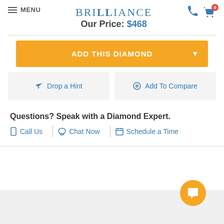MENU | BRILLIANCE | Our Price: $468
ADD THIS DIAMOND
Drop a Hint
Add To Compare
Questions? Speak with a Diamond Expert.
Call Us | Chat Now | Schedule a Time
[Figure (screenshot): Orange chat bubble icon in bottom right corner]